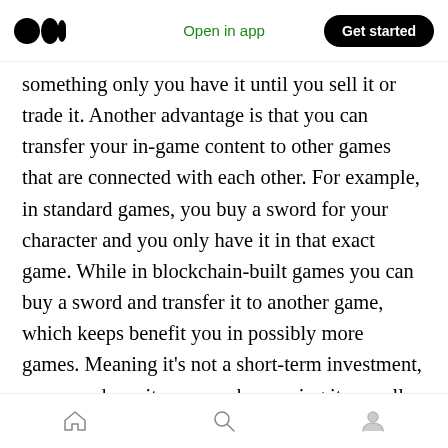Medium logo | Open in app | Get started
something only you have it until you sell it or trade it. Another advantage is that you can transfer your in-game content to other games that are connected with each other. For example, in standard games, you buy a sword for your character and you only have it in that exact game. While in blockchain-built games you can buy a sword and transfer it to another game, which keeps benefit you in possibly more games. Meaning it’s not a short-term investment, once you have it, you can keep using it as well as either sell it or trade it off later.
Home | Search | Profile